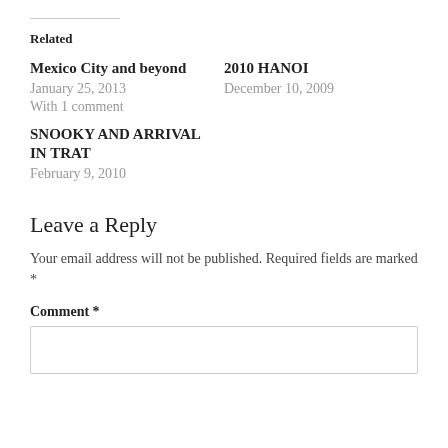Related
Mexico City and beyond
January 25, 2013
With 1 comment
2010 HANOI
December 10, 2009
SNOOKY AND ARRIVAL IN TRAT
February 9, 2010
Leave a Reply
Your email address will not be published. Required fields are marked *
Comment *